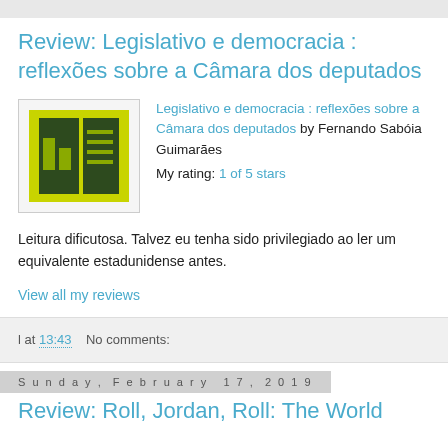Review: Legislativo e democracia : reflexões sobre a Câmara dos deputados
[Figure (illustration): Book cover thumbnail showing a green and dark green geometric design]
Legislativo e democracia : reflexões sobre a Câmara dos deputados by Fernando Sabóia Guimarães
My rating: 1 of 5 stars
Leitura dificutosa. Talvez eu tenha sido privilegiado ao ler um equivalente estadunidense antes.
View all my reviews
l at 13:43   No comments:
Sunday, February 17, 2019
Review: Roll, Jordan, Roll: The World